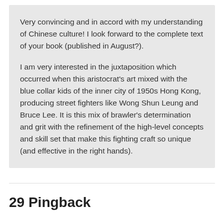Very convincing and in accord with my understanding of Chinese culture! I look forward to the complete text of your book (published in August?).

I am very interested in the juxtaposition which occurred when this aristocrat's art mixed with the blue collar kids of the inner city of 1950s Hong Kong, producing street fighters like Wong Shun Leung and Bruce Lee. It is this mix of brawler's determination and grit with the refinement of the high-level concepts and skill set that make this fighting craft so unique (and effective in the right hands).
29 Pingback